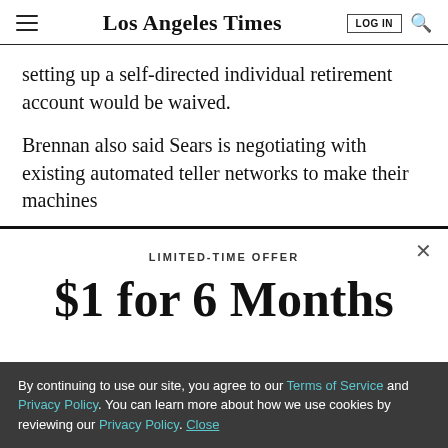Los Angeles Times
setting up a self-directed individual retirement account would be waived.
Brennan also said Sears is negotiating with existing automated teller networks to make their machines
LIMITED-TIME OFFER
$1 for 6 Months
By continuing to use our site, you agree to our Terms of Service and Privacy Policy. You can learn more about how we use cookies by reviewing our Privacy Policy. Close